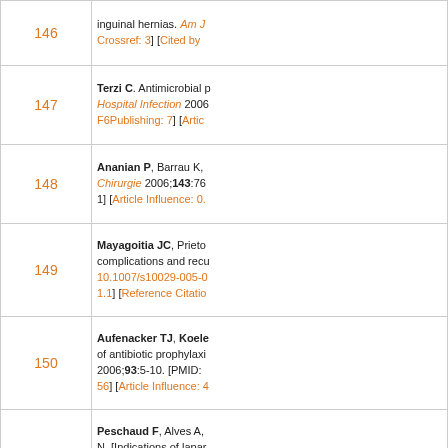| # | Reference |
| --- | --- |
| 146 | inguinal hernias. Am J ... Crossref: 3] [Cited by ... |
| 147 | Terzi C. Antimicrobial p... Hospital Infection 2006... F6Publishing: 7] [Artic... |
| 148 | Ananian P, Barrau K, ... Chirurgie 2006;143:76... 1] [Article Influence: 0.... |
| 149 | Mayagoitia JC, Prieto... complications and recu... 10.1007/s10029-005-0... 1.1] [Reference Citatio... |
| 150 | Aufenacker TJ, Koele... of antibiotic prophylaxis... 2006;93:5-10. [PMID: ... 56] [Article Influence: 4... |
| 151 | Peschaud F, Alves A,... N. [Indications of lapar... digestive surgery]. Ann... Crossref: 18] [Cited by... |
| 152 | Gilbert AI, Graham MI... between general surge... |